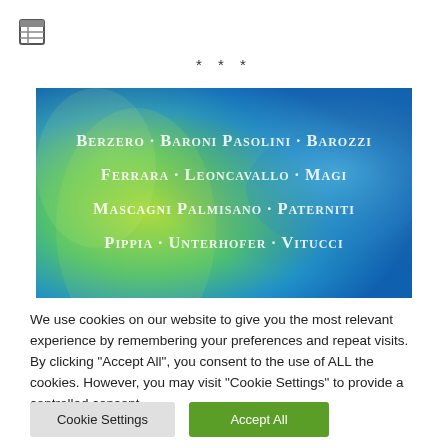[Figure (illustration): Small grid/table icon in top-left corner]
* * *
[Figure (photo): Colorful blue and green textured background image with names in white serif text: BERZERO · BARONI PASOLINI · BAROZZI FERRARA · LEONCAVALLO · MAGI MASCAGNI PALMISANO · PATERNITI PIPPIA · UNTERHOFER · VITUCCI]
We use cookies on our website to give you the most relevant experience by remembering your preferences and repeat visits. By clicking "Accept All", you consent to the use of ALL the cookies. However, you may visit "Cookie Settings" to provide a controlled consent.
Cookie Settings
Accept All